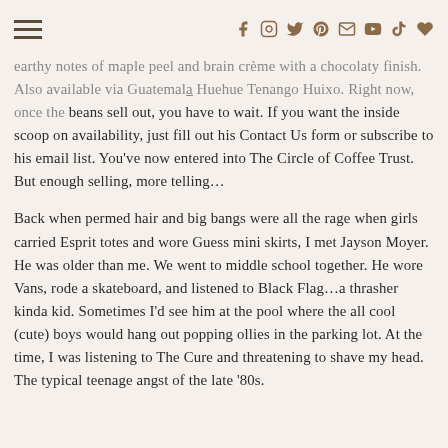Navigation header with hamburger menu and social icons
earthy notes of maple peel and brain crème with a chocolaty finish. Also available via Guatemalq Huehue Tenango Huixo. Right now, once the beans sell out, you have to wait. If you want the inside scoop on availability, just fill out his Contact Us form or subscribe to his email list. You've now entered into The Circle of Coffee Trust. But enough selling, more telling…
Back when permed hair and big bangs were all the rage when girls carried Esprit totes and wore Guess mini skirts, I met Jayson Moyer. He was older than me. We went to middle school together. He wore Vans, rode a skateboard, and listened to Black Flag…a thrasher kinda kid. Sometimes I'd see him at the pool where the all cool (cute) boys would hang out popping ollies in the parking lot. At the time, I was listening to The Cure and threatening to shave my head. The typical teenage angst of the late '80s.